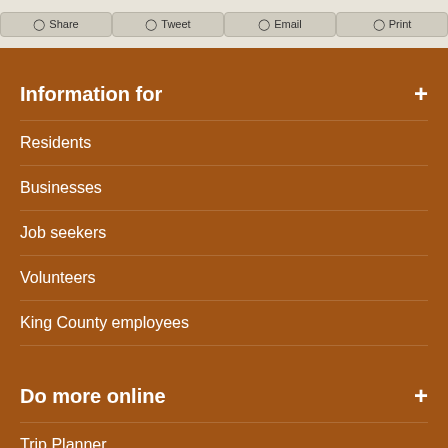Share | Tweet | Email | Print
Information for
Residents
Businesses
Job seekers
Volunteers
King County employees
Do more online
Trip Planner
Property tax information & payment